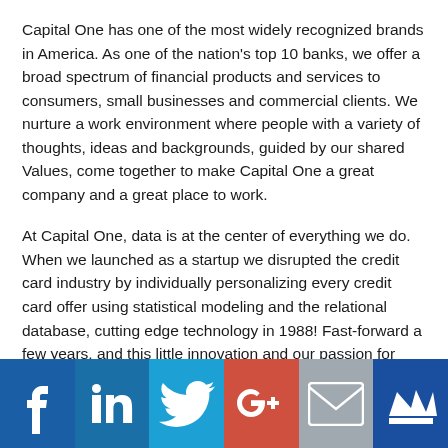Capital One has one of the most widely recognized brands in America. As one of the nation's top 10 banks, we offer a broad spectrum of financial products and services to consumers, small businesses and commercial clients. We nurture a work environment where people with a variety of thoughts, ideas and backgrounds, guided by our shared Values, come together to make Capital One a great company and a great place to work.
At Capital One, data is at the center of everything we do. When we launched as a startup we disrupted the credit card industry by individually personalizing every credit card offer using statistical modeling and the relational database, cutting edge technology in 1988! Fast-forward a few years, and this little innovation and our passion for data has skyrocketed us to a Fortune 200 company and a leader in the world of data-driven decision-making.
[Figure (infographic): Social media share bar with six icons: Facebook (blue), LinkedIn (blue), Twitter (light blue), Google+ (red), Email (gray), Crown/bookmark (dark blue)]